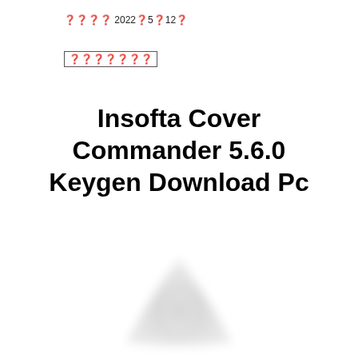⬛⬛⬛⬛ 2022⬛5⬛12⬛
⬛⬛⬛⬛⬛⬛⬛
Insofta Cover Commander 5.6.0 Keygen Download Pc
[Figure (illustration): A blurred/faded triangular warning or decorative icon shape in grey tones at the bottom center of the page]